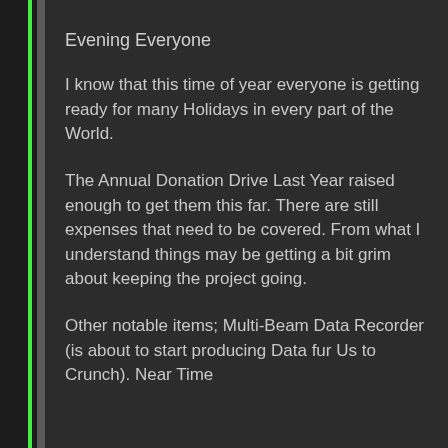Evening Everyone
I know that this time of year everyone is getting ready for many Holidays in every part of the World.
The Annual Donation Drive Last Year raised enough to get them this far. There are still expenses that need to be covered. From what I understand things may be getting a bit grim about keeping the project going.
Other notable items; Multi-Beam Data Recorder (is about to start producing Data fur Us to Crunch). Near Time